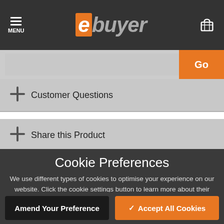ebuyer — MENU navigation bar with cart icon
Go (search bar)
+ Customer Questions
+ Share this Product
Cookie Preferences
We use different types of cookies to optimise your experience on our website. Click the cookie settings button to learn more about their purpose. You may choose which types of cookies to allow and can change your preferences at any time. Remember that disabling cookies may affect your experience on the website. You can learn about how we use cookies by viewing our Cookie Policy.
Amend Your Preference
✓ Accept All Cookies